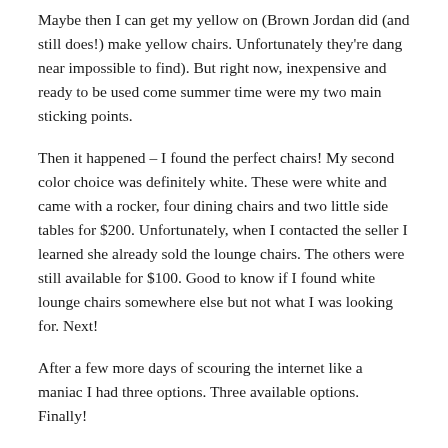Maybe then I can get my yellow on (Brown Jordan did (and still does!) make yellow chairs. Unfortunately they're dang near impossible to find). But right now, inexpensive and ready to be used come summer time were my two main sticking points.
Then it happened – I found the perfect chairs! My second color choice was definitely white. These were white and came with a rocker, four dining chairs and two little side tables for $200. Unfortunately, when I contacted the seller I learned she already sold the lounge chairs. The others were still available for $100. Good to know if I found white lounge chairs somewhere else but not what I was looking for. Next!
After a few more days of scouring the internet like a maniac I had three options. Three available options. Finally!
The first was a pair of hunter green chairs. My mom loved the green. But I was still hoping to maybe find a yellow one.